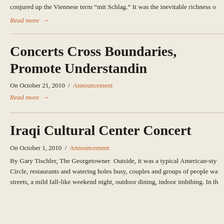conjured up the Viennese term “mit Schlag.” It was the inevitable richness o
Read more →
Concerts Cross Boundaries, Promote Understandin
On October 21, 2010 / Announcement
Read more →
Iraqi Cultural Center Concert
On October 1, 2010 / Announcement
By Gary Tischler, The Georgetowner  Outside, it was a typical American-sty Circle, restaurants and watering holes busy, couples and groups of people wa streets, a mild fall-like weekend night, outdoor dining, indoor imbibing. In th